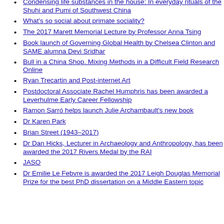Condensing life substances in the house: In everyday rituals of the Shuhi and Pumi of Southwest China
What's so social about primate sociality?
The 2017 Marett Memorial Lecture by Professor Anna Tsing
Book launch of Governing Global Health by Chelsea Clinton and SAME alumna Devi Sridhar
Bull in a China Shop. Mixing Methods in a Difficult Field Research Online
Ryan Trecartin and Post-internet Art
Postdoctoral Associate Rachel Humphris has been awarded a Leverhulme Early Career Fellowship
Ramon Sarró helps launch Julie Archambault's new book
Dr Karen Park
Brian Street (1943–2017)
Dr Dan Hicks, Lecturer in Archaeology and Anthropology, has been awarded the 2017 Rivers Medal by the RAI
JASO
Dr Emilie Le Febvre is awarded the 2017 Leigh Douglas Memorial Prize for the best PhD dissertation on a Middle Eastern topic